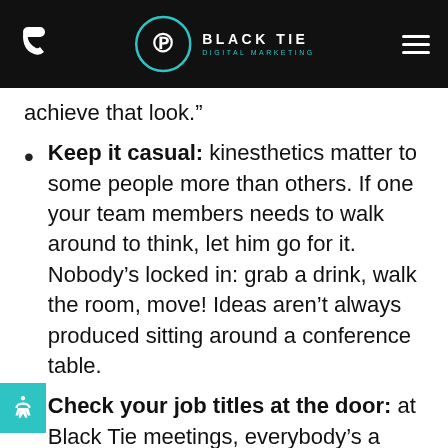Black Tie Digital Marketing
achieve that look.”
Keep it casual: kinesthetics matter to some people more than others. If one your team members needs to walk around to think, let him go for it. Nobody’s locked in: grab a drink, walk the room, move! Ideas aren’t always produced sitting around a conference table.
Check your job titles at the door: at Black Tie meetings, everybody’s a designer, everybody’s a writer, everybody’s an artist (though we’re keeping those rudimentary sketches under lock and key). If you’ve done